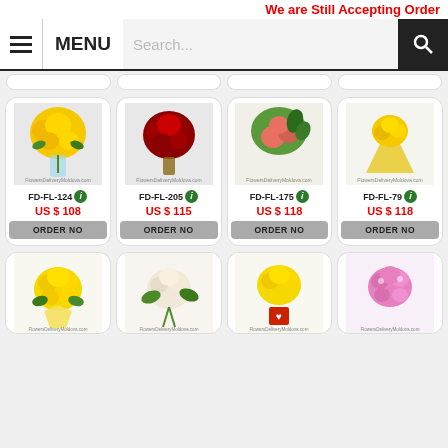We are Still Accepting Order
[Figure (screenshot): Navigation bar with hamburger menu icon, MENU label, search box, and search button]
[Figure (photo): Yellow roses bouquet - FD-FL-124]
FD-FL-124 US $ 108 ORDER NO
[Figure (photo): Red flowers bouquet - FD-FL-205]
FD-FL-205 US $ 115 ORDER NO
[Figure (photo): Mixed colorful bouquet - FD-FL-175]
FD-FL-175 US $ 118 ORDER NO
[Figure (photo): Yellow wrapped bouquet - FD-FL-79]
FD-FL-79 US $ 118 ORDER NO
[Figure (photo): Bottom row: yellow chrysanthemums, cream roses bouquet, yellow flowers with heart box, pink daisies arrangement]